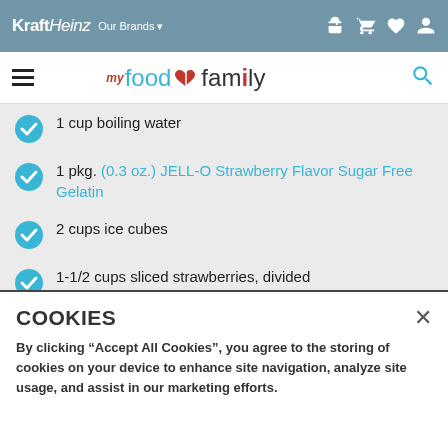Kraft Heinz | Our Brands | Navigation icons
my food and family | Search
1 cup boiling water
1 pkg. (0.3 oz.) JELL-O Strawberry Flavor Sugar Free Gelatin
2 cups ice cubes
1-1/2 cups sliced strawberries, divided
1 pkg. (1 oz.) JELL-O Cheesecake Flavor Sugar Free Fat Free Instant Pudding
COOKIES
By clicking “Accept All Cookies”, you agree to the storing of cookies on your device to enhance site navigation, analyze site usage, and assist in our marketing efforts.